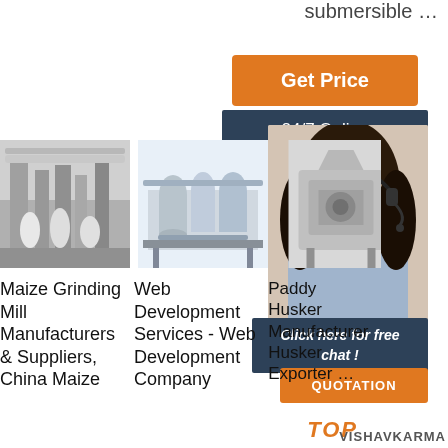submersible …
Get Price
24/7 Online
[Figure (photo): Customer service agent, woman with headset smiling]
Click here for free chat !
QUOTATION
[Figure (photo): Maize grinding mill industrial facility interior, black and white photo]
[Figure (photo): Web development services - industrial equipment photo]
[Figure (photo): Paddy husker manufacturer equipment]
Maize Grinding Mill Manufacturers & Suppliers, China Maize
Web Development Services - Web Development Company
Paddy Husker Manufacturer Husker Exporter … VISHAVKARMA